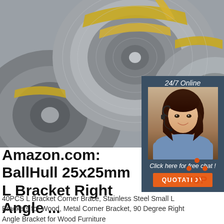[Figure (photo): Steel coils stacked, viewed from above, with yellow metal strapping bands holding the coils]
[Figure (other): 24/7 online chat widget with female customer service agent wearing headset, dark blue background, orange QUOTATION button]
Amazon.com: BallHull 25x25mm L Bracket Right Angle ...
[Figure (other): TOP badge with orange dots in triangle pattern above the word TOP in orange]
40PCS L Bracket Corner Brace, Stainless Steel Small L Brackets for Wood, Metal Corner Bracket, 90 Degree Right Angle Bracket for Wood Furniture